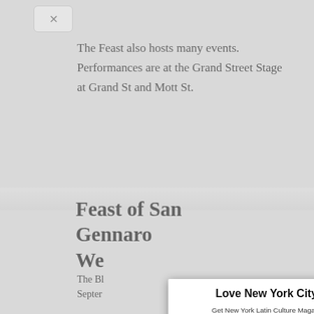The Feast also hosts many events. Performances are at the Grand Street Stage at Grand St and Mott St.
Feast of San Gennaro We
The Bl Septer
Johnny Septer
The Ha
Love New York City?
Get New York Latin Culture Magazine in your Email weekly
YES, SIGN ME UP
NO THANKS